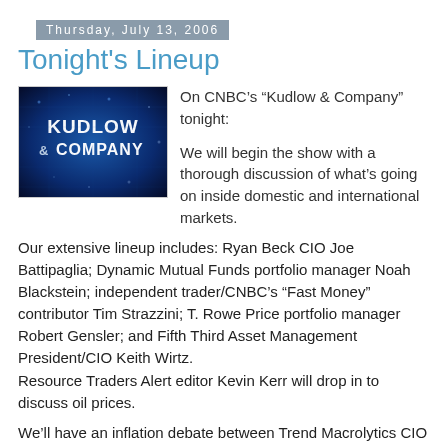Thursday, July 13, 2006
Tonight's Lineup
[Figure (logo): Kudlow & Company logo — dark blue background with glowing text 'KUDLOW & COMPANY']
On CNBC’s “Kudlow & Company” tonight:

We will begin the show with a thorough discussion of what’s going on inside domestic and international markets.
Our extensive lineup includes: Ryan Beck CIO Joe Battipaglia; Dynamic Mutual Funds portfolio manager Noah Blackstein; independent trader/CNBC’s “Fast Money” contributor Tim Strazzini; T. Rowe Price portfolio manager Robert Gensler; and Fifth Third Asset Management President/CIO Keith Wirtz.
Resource Traders Alert editor Kevin Kerr will drop in to discuss oil prices.
We’ll have an inflation debate between Trend Macrolytics CIO Don Luskin and JP Morgan’s senior economist Jim